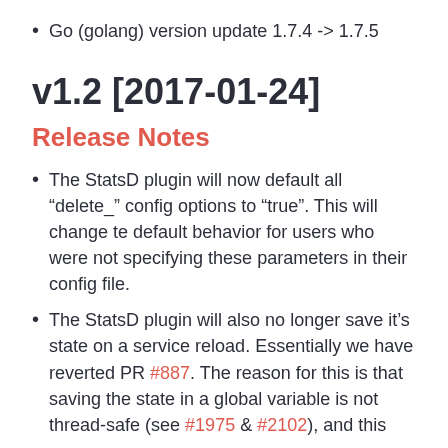Go (golang) version update 1.7.4 -> 1.7.5
v1.2 [2017-01-24]
Release Notes
The StatsD plugin will now default all “delete_” config options to “true”. This will change te default behavior for users who were not specifying these parameters in their config file.
The StatsD plugin will also no longer save it’s state on a service reload. Essentially we have reverted PR #887. The reason for this is that saving the state in a global variable is not thread-safe (see #1975 & #2102), and this